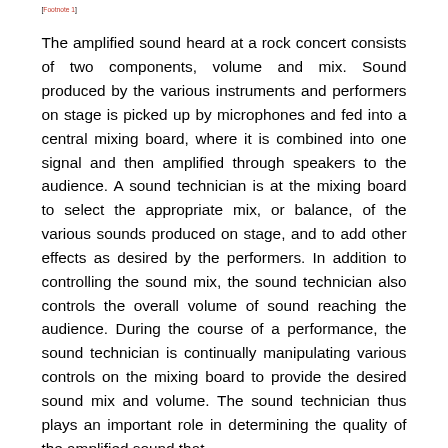[Footnote 1]
The amplified sound heard at a rock concert consists of two components, volume and mix. Sound produced by the various instruments and performers on stage is picked up by microphones and fed into a central mixing board, where it is combined into one signal and then amplified through speakers to the audience. A sound technician is at the mixing board to select the appropriate mix, or balance, of the various sounds produced on stage, and to add other effects as desired by the performers. In addition to controlling the sound mix, the sound technician also controls the overall volume of sound reaching the audience. During the course of a performance, the sound technician is continually manipulating various controls on the mixing board to provide the desired sound mix and volume. The sound technician thus plays an important role in determining the quality of the amplified sound that